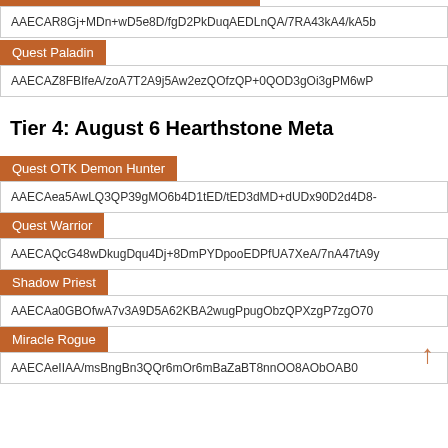AAECAR8Gj+MDn+wD5e8D/fgD2PkDuqAEDLnQA/7RA43kA4/kA5b
Quest Paladin
AAECAZ8FBIfeA/zoA7T2A9j5Aw2ezQOfzQP+0QOD3gOi3gPM6wP
Tier 4: August 6 Hearthstone Meta
Quest OTK Demon Hunter
AAECAea5AwLQ3QP39gMO6b4D1tED/tED3dMD+dUDx90D2d4D8-
Quest Warrior
AAECAQcG48wDkugDqu4Dj+8DmPYDpooEDPfUA7XeA/7nA47tA9y
Shadow Priest
AAECAa0GBOfwA7v3A9D5A62KBA2wugPpugObzQPXzgP7zgO70
Miracle Rogue
AAECAeIIAA/msBngBn3QQr6mOr6mBaZaBT8nnOO8AObOAB0